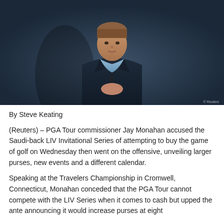[Figure (photo): PGA Tour commissioner Jay Monahan standing at a press conference podium in front of 'THE PLAYERS' backdrop, wearing a dark navy blazer and light blue shirt, hands clasped, speaking at a media event.]
By Steve Keating
(Reuters) – PGA Tour commissioner Jay Monahan accused the Saudi-back LIV Invitational Series of attempting to buy the game of golf on Wednesday then went on the offensive, unveiling larger purses, new events and a different calendar.
Speaking at the Travelers Championship in Cromwell, Connecticut, Monahan conceded that the PGA Tour cannot compete with the LIV Series when it comes to cash but upped the ante announcing it would increase purses at eight